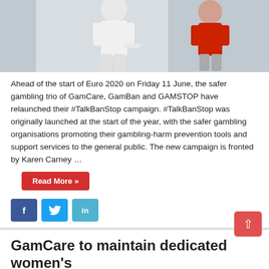[Figure (photo): Photo of soccer/football players during a match, one in a white jersey and one in a red jersey]
Ahead of the start of Euro 2020 on Friday 11 June, the safer gambling trio of GamCare, GamBan and GAMSTOP have relaunched their #TalkBanStop campaign. #TalkBanStop was originally launched at the start of the year, with the safer gambling organisations promoting their gambling-harm prevention tools and support services to the general public. The new campaign is fronted by Karen Carney …
Read More »
[Figure (other): Social media share buttons: Facebook, Twitter, LinkedIn]
GamCare to maintain dedicated women's support programme
June 3, 2021
[Figure (photo): Banner image with text 'I CAN BREATHE' on a blue background with a person visible]